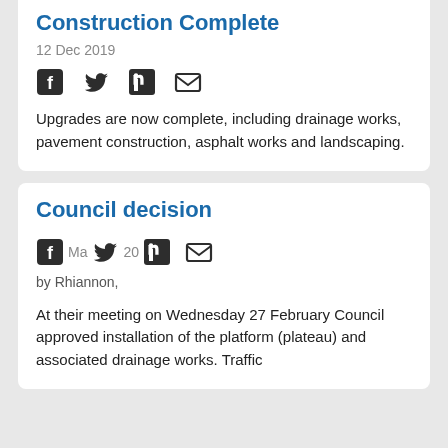Construction Complete
12 Dec 2019
Upgrades are now complete, including drainage works, pavement construction, asphalt works and landscaping.
Council decision
May 20
by Rhiannon,
At their meeting on Wednesday 27 February Council approved installation of the platform (plateau) and associated drainage works. Traffic